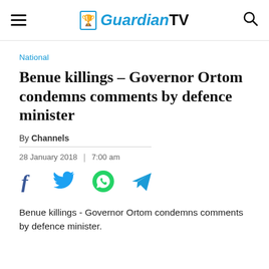GuardianTV
National
Benue killings – Governor Ortom condemns comments by defence minister
By Channels
28 January 2018  |  7:00 am
[Figure (infographic): Social sharing icons: Facebook, Twitter, WhatsApp, Telegram]
Benue killings - Governor Ortom condemns comments by defence minister.